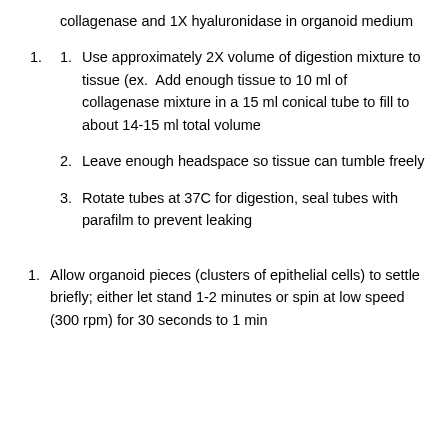collagenase and 1X hyaluronidase in organoid medium
1. 1. Use approximately 2X volume of digestion mixture to tissue (ex. Add enough tissue to 10 ml of collagenase mixture in a 15 ml conical tube to fill to about 14-15 ml total volume
2. Leave enough headspace so tissue can tumble freely
3. Rotate tubes at 37C for digestion, seal tubes with parafilm to prevent leaking
1. Allow organoid pieces (clusters of epithelial cells) to settle briefly; either let stand 1-2 minutes or spin at low speed (300 rpm) for 30 seconds to 1 min